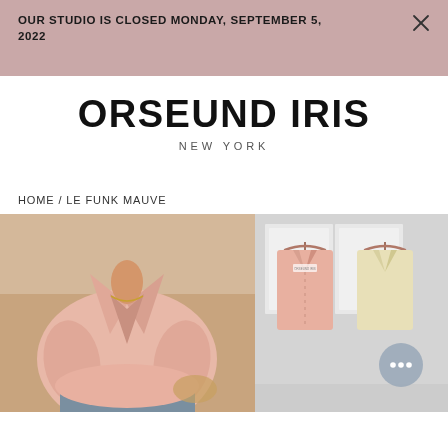OUR STUDIO IS CLOSED MONDAY, SEPTEMBER 5, 2022
ORSEUND IRIS
NEW YORK
HOME / LE FUNK MAUVE
[Figure (photo): Person wearing a pink satin short-sleeve shirt with a V-neckline and gold necklace, posed with hands on hips in front of a basket.]
[Figure (photo): Two pink and cream/yellow satin shirts hanging on pink hangers against a light grey wall with white frames in the background. A chat bubble icon with three dots is visible in the lower right corner.]